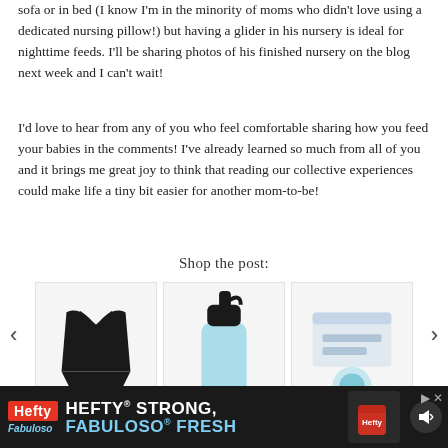sofa or in bed (I know I'm in the minority of moms who didn't love using a dedicated nursing pillow!) but having a glider in his nursery is ideal for nighttime feeds. I'll be sharing photos of his finished nursery on the blog next week and I can't wait!
I'd love to hear from any of you who feel comfortable sharing how you feed your babies in the comments! I've already learned so much from all of you and it brings me great joy to think that reading our collective experiences could make life a tiny bit easier for another mom-to-be!
Shop the post:
[Figure (photo): Carousel of product images including a black sports bra/swimsuit top, a light blue Hydro Flask water bottle with black straw lid, and other baby/nursing products. Navigation arrows on left and right sides.]
[Figure (screenshot): Hefty advertisement banner with dark background. Shows Hefty logo in red, Fabuloso logo in blue, text reading HEFTY STRONG FABULOSO FRESH, and product images on right side. Close button and mute icon visible.]